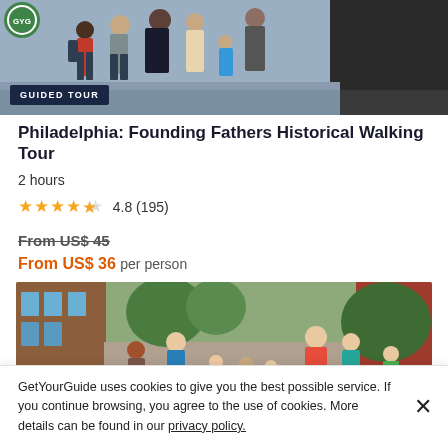[Figure (photo): Photo of tourists on a guided tour, top portion visible]
GUIDED TOUR
Philadelphia: Founding Fathers Historical Walking Tour
2 hours
★★★★½ 4.8 (195)
From US$ 45
From US$ 36 per person
[Figure (photo): Photo of families and children on a guided walking tour through a historic Philadelphia alley with brick buildings]
GUIDED TOUR
Philadelphia: Revolution... Walk Through Historic Old...
GetYourGuide uses cookies to give you the best possible service. If you continue browsing, you agree to the use of cookies. More details can be found in our privacy policy.